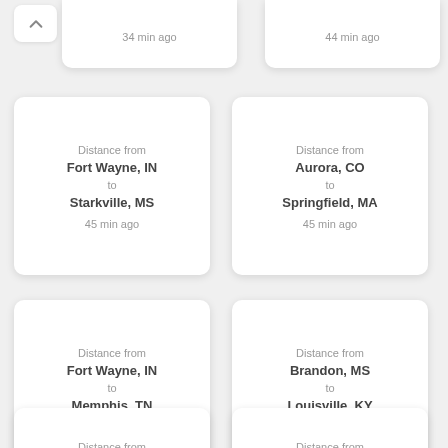[Figure (screenshot): Chevron/collapse button on top-left card]
34 min ago
44 min ago
Distance from Fort Wayne, IN to Starkville, MS
45 min ago
Distance from Aurora, CO to Springfield, MA
45 min ago
Distance from Fort Wayne, IN to Memphis, TN
46 min ago
Distance from Brandon, MS to Louisville, KY
56 min ago
Distance from
Distance from